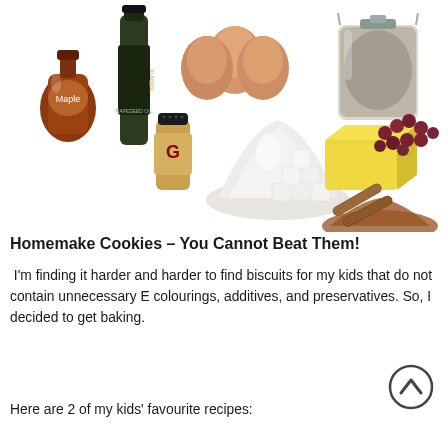[Figure (photo): Collage of baking ingredients: maple syrup bottle, hill farm rapeseed oil bottle, eggs, jar of oats, spice shaker, flour pile, sugar cubes, butter block, raisins/cranberries, cinnamon sticks with ground cinnamon]
Homemake Cookies – You Cannot Beat Them!
I'm finding it harder and harder to find biscuits for my kids that do not contain unnecessary E colourings, additives, and preservatives. So, I decided to get baking.
Here are 2 of my kids' favourite recipes: